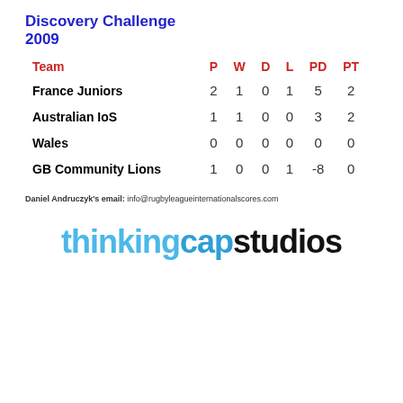Discovery Challenge 2009
| Team | P | W | D | L | PD | PT |
| --- | --- | --- | --- | --- | --- | --- |
| France Juniors | 2 | 1 | 0 | 1 | 5 | 2 |
| Australian IoS | 1 | 1 | 0 | 0 | 3 | 2 |
| Wales | 0 | 0 | 0 | 0 | 0 | 0 |
| GB Community Lions | 1 | 0 | 0 | 1 | -8 | 0 |
Daniel Andruczyk's email: info@rugbyleagueinternationalscores.com
[Figure (logo): thinkingcapstudios logo text in blue and black]